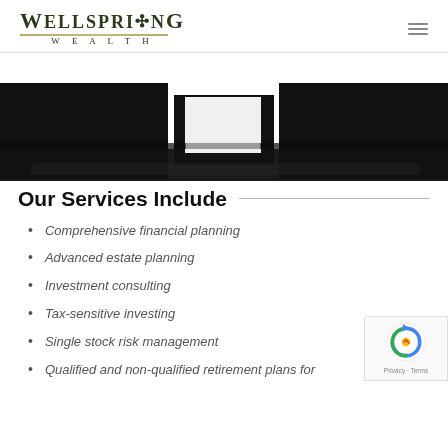WELLSPRING WEALTH
[Figure (photo): Hero image showing a dark silhouette landscape with white/light rectangular shapes (windows or panels) visible against the dark background, suggesting a building or architectural scene at dusk.]
Our Services Include
Comprehensive financial planning
Advanced estate planning
Investment consulting
Tax-sensitive investing
Single stock risk management
Qualified and non-qualified retirement plans for